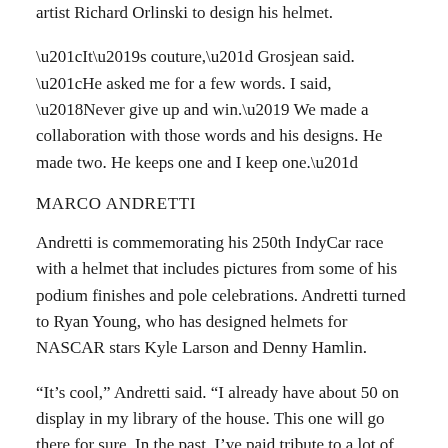artist Richard Orlinski to design his helmet.
“It’s couture,” Grosjean said. “He asked me for a few words. I said, ‘Never give up and win.’ We made a collaboration with those words and his designs. He made two. He keeps one and I keep one.”
MARCO ANDRETTI
Andretti is commemorating his 250th IndyCar race with a helmet that includes pictures from some of his podium finishes and pole celebrations. Andretti turned to Ryan Young, who has designed helmets for NASCAR stars Kyle Larson and Denny Hamlin.
“It’s cool,” Andretti said. “I already have about 50 on display in my library of the house. This one will go there for sure. In the past, I’ve paid tribute to a lot of my idols on helmets. But some of them I never met. I kept the collection to the people I’ve met.”
HELIO CASTRONEVES